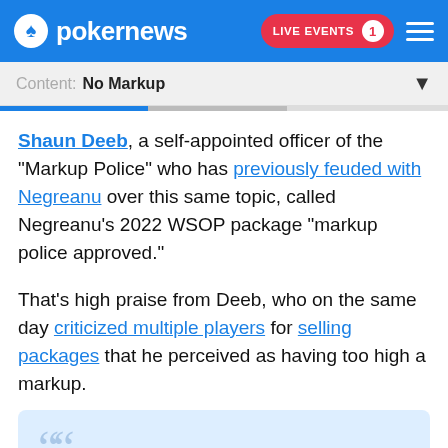pokernews — LIVE EVENTS 1
Content: No Markup
Shaun Deeb, a self-appointed officer of the "Markup Police" who has previously feuded with Negreanu over this same topic, called Negreanu's 2022 WSOP package "markup police approved."
That's high praise from Deeb, who on the same day criticized multiple players for selling packages that he perceived as having too high a markup.
"Markup police approved everyone should be spamming buy one his packages https://t.co/IpYqBW9W6W